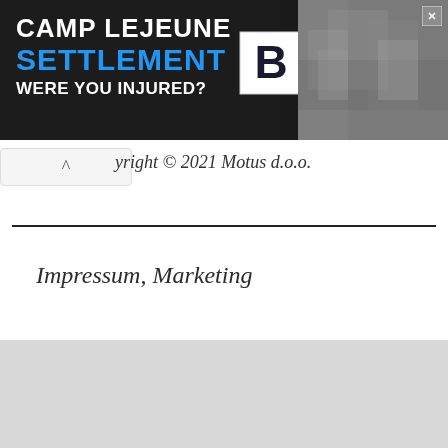[Figure (illustration): Advertisement banner for Camp Lejeune Settlement with text 'CAMP LEJEUNE SETTLEMENT WERE YOU INJURED?' on dark background with a blue 'B' logo icon and military photo on right side]
yright © 2021 Motus d.o.o.
Impressum, Marketing